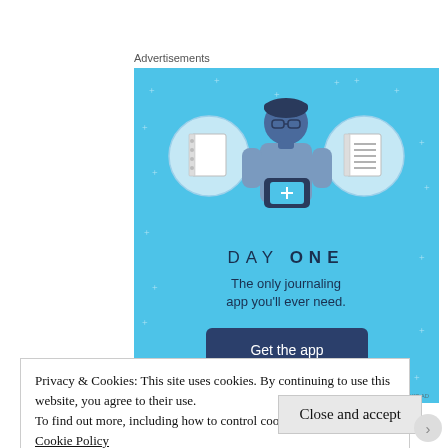Advertisements
[Figure (illustration): Day One journaling app advertisement. Light blue background with sparkle stars. Three circular icons at top showing a blank notebook, a person holding a phone, and a lined notebook. Large text 'DAY ONE' in dark navy. Tagline 'The only journaling app you'll ever need.' Dark navy 'Get the app' button.]
Privacy & Cookies: This site uses cookies. By continuing to use this website, you agree to their use.
To find out more, including how to control cookies, see here:
Cookie Policy
Close and accept